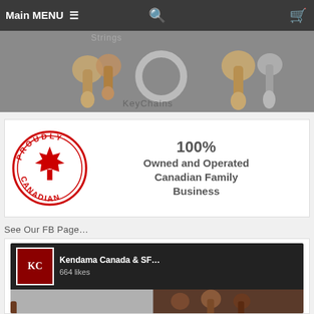Main MENU
[Figure (photo): Product image strip showing kendama toys and keychains with text 'KeyChains']
[Figure (logo): Proudly Canadian circular badge with maple leaf and text '100% Owned and Operated Canadian Family Business']
See Our FB Page…
[Figure (screenshot): Facebook page screenshot for Kendama Canada & SF... showing 664 likes and product photos]